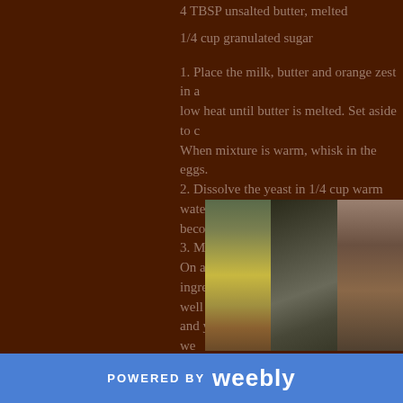4 TBSP unsalted butter, melted
1/4 cup granulated sugar
1.  Place the milk, butter and orange zest in a saucepan over low heat until butter is melted.  Set aside to cool slightly. When mixture is warm, whisk in the eggs.
2.  Dissolve the yeast in 1/4 cup warm water. Let stand until becomes bubbly.
3.  Mix together flour, sugar, and salt.  On a large board, form ingredients into a mound and make a well in the center. Pour milk and yeast mixtures into the center of the well and begin mixing. Knead until a smooth ball of dough develops (you may need some additional flour...the dough should be a slightly sticky but cohesive ball)
[Figure (photo): Three-panel photo collage showing baking ingredients: lemon, grater, mixing bowl on left; and cookbook or recipe book on right]
POWERED BY weebly